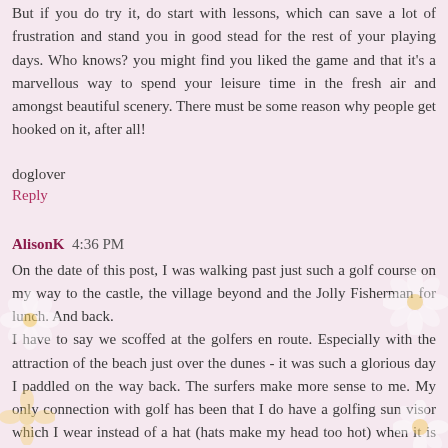But if you do try it, do start with lessons, which can save a lot of frustration and stand you in good stead for the rest of your playing days. Who knows? you might find you liked the game and that it's a marvellous way to spend your leisure time in the fresh air and amongst beautiful scenery. There must be some reason why people get hooked on it, after all!
doglover
Reply
AlisonK  4:36 PM
On the date of this post, I was walking past just such a golf course on my way to the castle, the village beyond and the Jolly Fisherman for lunch. And back.
I have to say we scoffed at the golfers en route. Especially with the attraction of the beach just over the dunes - it was such a glorious day I paddled on the way back. The surfers make more sense to me. My only connection with golf has been that I do have a golfing sun visor which I wear instead of a hat (hats make my head too hot) when it is sunny. Like